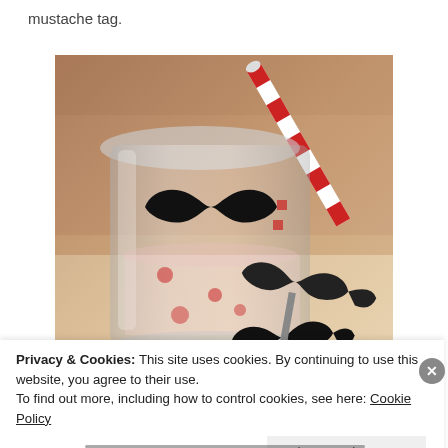mustache tag.
[Figure (photo): A clear mason jar with multiple black mustache-shaped decorations attached to it, along with a red and white striped straw. The jar appears to be on a wooden surface.]
Privacy & Cookies: This site uses cookies. By continuing to use this website, you agree to their use.
To find out more, including how to control cookies, see here: Cookie Policy
Close and accept